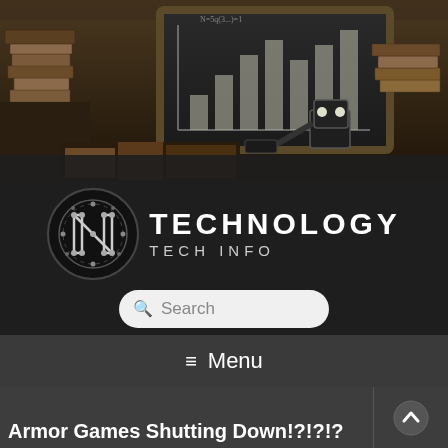[Figure (photo): A steampunk-style robot sitting among stacks of old books in front of a chalkboard with bar charts drawn on it, in a dark, vintage study setting.]
[Figure (logo): N Technology Tech Info logo: a circular black emblem with a stylized N made of circuit-board traces, next to the text TECHNOLOGY in white bold letters and TECH INFO in smaller white letters below.]
Search
Menu
Armor Games Shutting Down!?!?!?